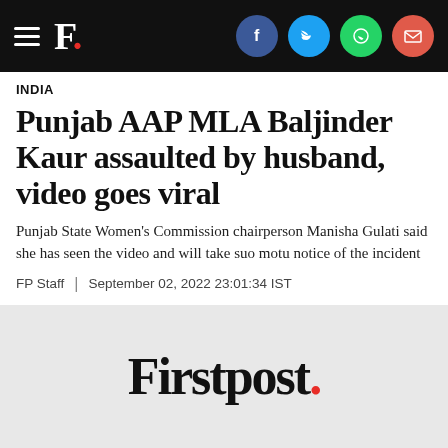Firstpost navigation header with logo F. and social media icons (Facebook, Twitter, WhatsApp, Email)
INDIA
Punjab AAP MLA Baljinder Kaur assaulted by husband, video goes viral
Punjab State Women's Commission chairperson Manisha Gulati said she has seen the video and will take suo motu notice of the incident
FP Staff | September 02, 2022 23:01:34 IST
[Figure (logo): Firstpost logo in large bold serif font with red dot]